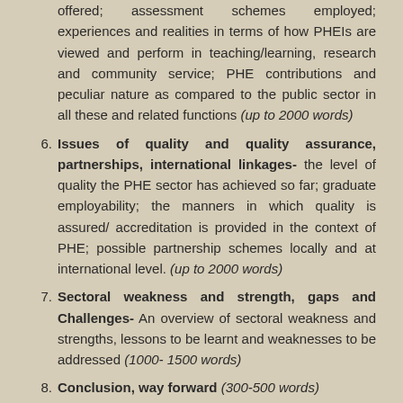offered; assessment schemes employed; experiences and realities in terms of how PHEIs are viewed and perform in teaching/learning, research and community service; PHE contributions and peculiar nature as compared to the public sector in all these and related functions (up to 2000 words)
Issues of quality and quality assurance, partnerships, international linkages- the level of quality the PHE sector has achieved so far; graduate employability; the manners in which quality is assured/ accreditation is provided in the context of PHE; possible partnership schemes locally and at international level. (up to 2000 words)
Sectoral weakness and strength, gaps and Challenges- An overview of sectoral weakness and strengths, lessons to be learnt and weaknesses to be addressed (1000- 1500 words)
Conclusion, way forward (300-500 words)